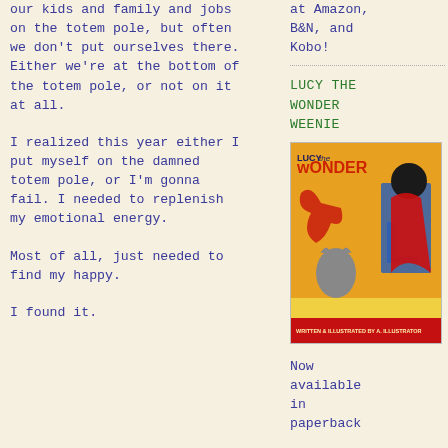our kids and family and jobs on the totem pole, but often we don't put ourselves there. Either we're at the bottom of the totem pole, or not on it at all.
I realized this year either I put myself on the damned totem pole, or I'm gonna fail. I needed to replenish my emotional energy.
Most of all, just needed to find my happy.
I found it.
at Amazon, B&N, and Kobo!
LUCY THE WONDER WEENIE
[Figure (illustration): Book cover for 'Lucy the Wonder Weenie' with orange background showing stylized animal characters]
Now available in paperback